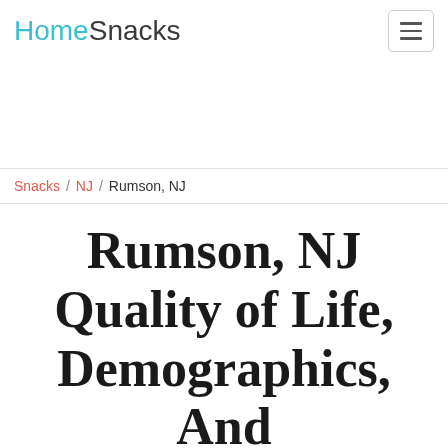HomeSnacks
Snacks / NJ / Rumson, NJ
Rumson, NJ Quality of Life, Demographics, And Statistics